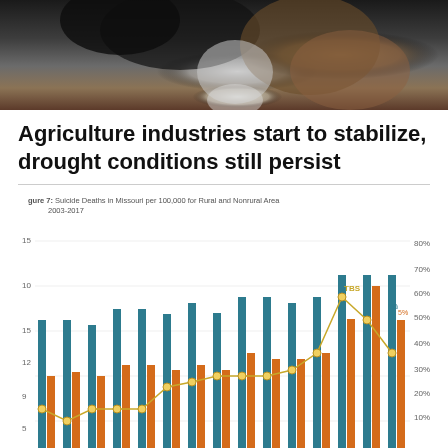[Figure (photo): Close-up photograph of cows, showing black and white and brown cattle faces]
Agriculture industries start to stabilize, drought conditions still persist
[Figure (grouped-bar-chart): Figure 7: Suicide Deaths in Missouri per 100,000 for Rural and Nonrural Areas 2003-2017]